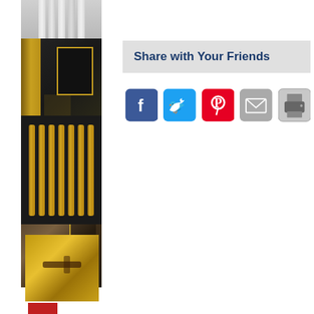[Figure (photo): Vertical collage of interior design and architectural images: columns at top, dark luxury apartment interior, gold vertical bars/panel, room interior, brass door handle, red strip at bottom]
Share with Your Friends
[Figure (infographic): Row of social sharing buttons: Facebook (blue), Twitter (light blue), Pinterest (red), Email (gray), Print (gray)]